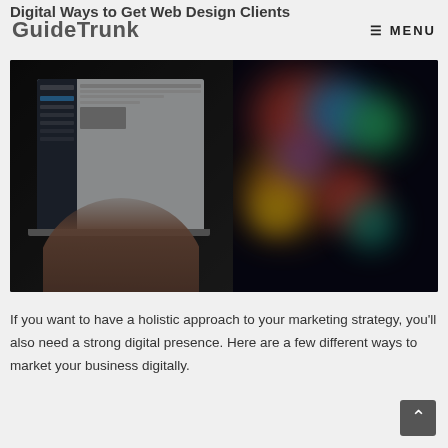GuideTrunk  ≡ MENU
Digital Ways to Get Web Design Clients
[Figure (photo): Person typing on a laptop with a colorful blurred screen/monitor in the background, dark-toned photo]
If you want to have a holistic approach to your marketing strategy, you'll also need a strong digital presence. Here are a few different ways to market your business digitally.